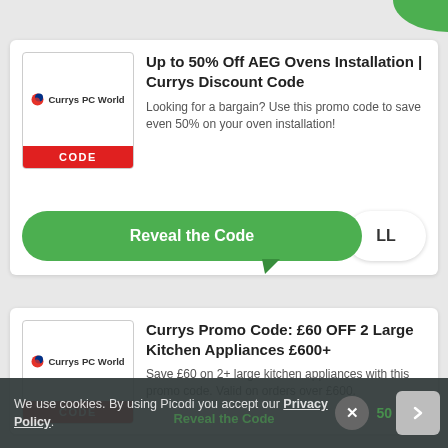[Figure (screenshot): Top green decorative corner element]
Up to 50% Off AEG Ovens Installation | Currys Discount Code
Looking for a bargain? Use this promo code to save even 50% on your oven installation!
[Figure (logo): Currys PC World logo with red CODE badge]
[Figure (screenshot): Green Reveal the Code button with LL pill]
Currys Promo Code: £60 OFF 2 Large Kitchen Appliances £600+
Save £60 on 2+ large kitchen appliances with this promo code. Valid on orders over £600.
[Figure (logo): Currys PC World logo with red CODE badge]
We use cookies. By using Picodi you accept our Privacy Policy.